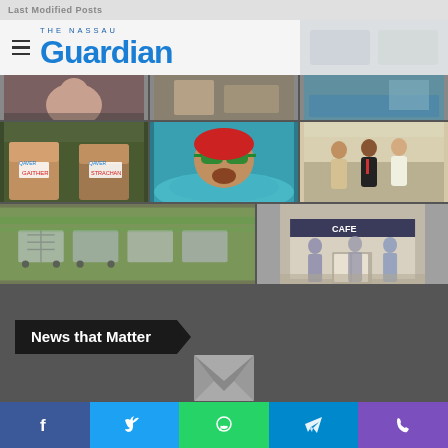Last Modified Posts
[Figure (logo): The Nassau Guardian logo with hamburger menu icon]
[Figure (photo): Grid of news photos: athletes (Gaither, Strachan), swimmer, officials walking, shopping carts, people at café entrance]
News that Matter
[Figure (other): Email/envelope icon]
[Figure (other): Social share bar with Facebook, Twitter, WhatsApp, Telegram, Phone icons]